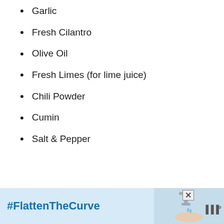Garlic
Fresh Cilantro
Olive Oil
Fresh Limes (for lime juice)
Chili Powder
Cumin
Salt & Pepper
[Figure (other): Advertisement banner with #FlattenTheCurve text, faucet/handwashing image, close button, and logo]